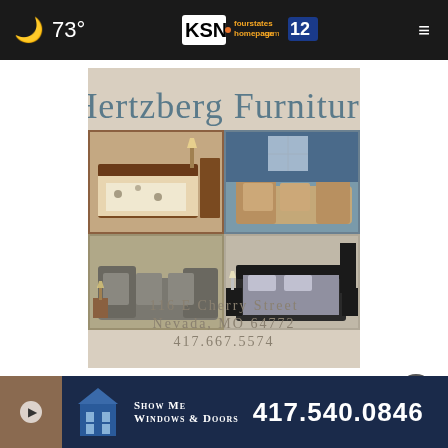73° KSN fourstates homepage .com 12
[Figure (illustration): Hertzberg Furniture advertisement showing bedroom and living room furniture sets with address: 116 E Cherry Street, Nevada, MO 64772, 417.667.5574]
MORE STORIES ▶
[Figure (illustration): Show Me Windows & Doors advertisement with phone number 417.540.0846]